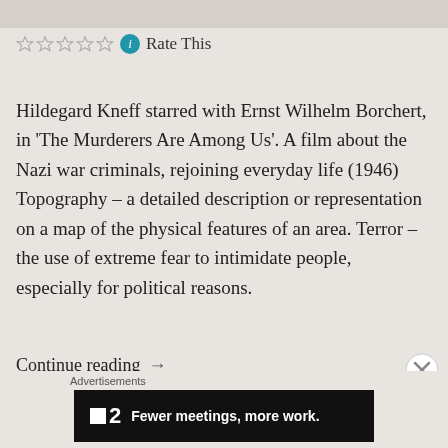[Figure (other): Top image bar, partially visible screenshot/image strip]
☆☆☆☆☆ ℹ Rate This
Hildegard Kneff starred with Ernst Wilhelm Borchert, in 'The Murderers Are Among Us'. A film about the Nazi war criminals, rejoining everyday life (1946) Topography – a detailed description or representation on a map of the physical features of an area. Terror – the use of extreme fear to intimidate people, especially for political reasons.
Continue reading →
Advertisements
[Figure (other): Advertisement banner: black background with ■2 logo and text 'Fewer meetings, more work.']